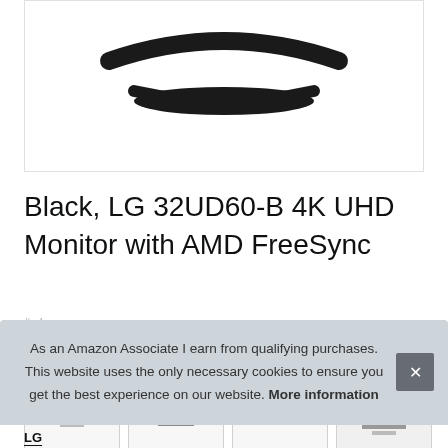[Figure (photo): Partial view of an LG 32UD60-B monitor showing the curved stand from above, on a white background, inside a bordered box]
Black, LG 32UD60-B 4K UHD Monitor with AMD FreeSync
#ad
[Figure (photo): Thumbnail strip of four product images: monitor side/back views, another monitor angle, and an LG-branded monitor front view with LG logo]
As an Amazon Associate I earn from qualifying purchases. This website uses the only necessary cookies to ensure you get the best experience on our website. More information